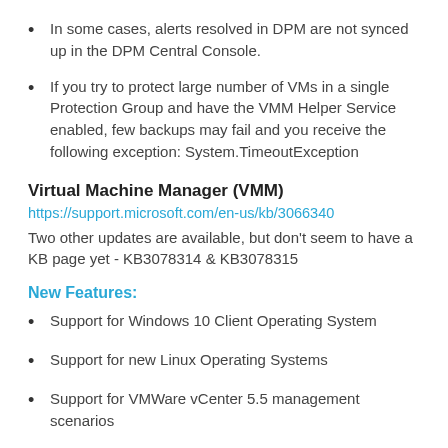In some cases, alerts resolved in DPM are not synced up in the DPM Central Console.
If you try to protect large number of VMs in a single Protection Group and have the VMM Helper Service enabled, few backups may fail and you receive the following exception: System.TimeoutException
Virtual Machine Manager (VMM)
https://support.microsoft.com/en-us/kb/3066340
Two other updates are available, but don't seem to have a KB page yet - KB3078314 & KB3078315
New Features:
Support for Windows 10 Client Operating System
Support for new Linux Operating Systems
Support for VMWare vCenter 5.5 management scenarios
Support for Multiple External IP Addresses on Virtual...